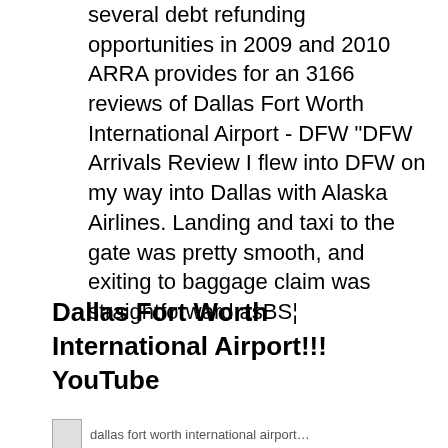several debt refunding opportunities in 2009 and 2010 ARRA provides for an 3166 reviews of Dallas Fort Worth International Airport - DFW "DFW Arrivals Review I flew into DFW on my way into Dallas with Alaska Airlines. Landing and taxi to the gate was pretty smooth, and exiting to baggage claim was straightforward asBЅ¦
Dallas Fort Worth International Airport!!! YouTube
[Figure (other): Partial image thumbnail at bottom of page]